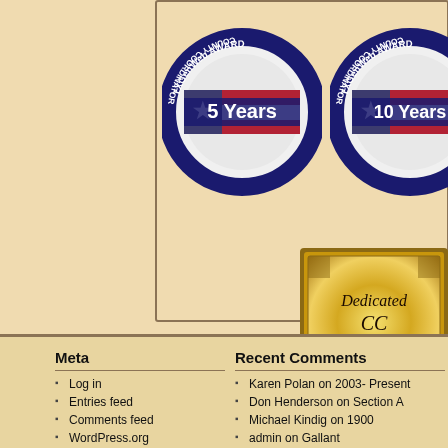[Figure (illustration): TXGenWeb Award badge for 5 Years County Coordinator - circular badge with Texas flag pattern]
[Figure (illustration): TXGenWeb Award badge for 10 Years County Coordinator - circular badge with Texas flag pattern]
[Figure (illustration): Dedicated CC TXGenWeb gold plaque award]
Meta
Log in
Entries feed
Comments feed
WordPress.org
Recent Comments
Karen Polan on 2003- Present
Don Henderson on Section A
Michael Kindig on 1900
admin on Gallant